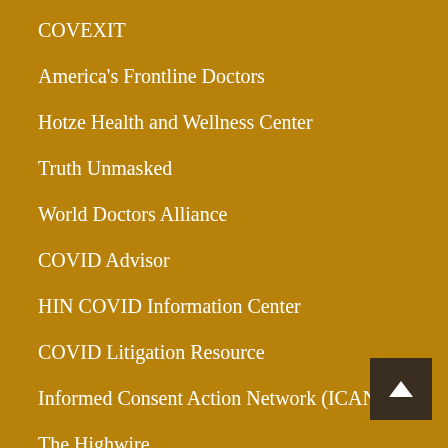COVEXIT
America's Frontline Doctors
Hotze Health and Wellness Center
Truth Unmasked
World Doctors Alliance
COVID Advisor
HIN COVID Information Center
COVID Litigation Resource
Informed Consent Action Network (ICAN)
The Highwire
Chlorine Dioxide (aka MMS) Treatment for Malaria
Chlorine Dioxide Autism Treatment